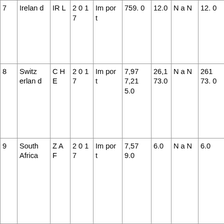| # | Country | Code | Year | Type | Value1 | Value2 | Status | Val3 | Val4 |
| --- | --- | --- | --- | --- | --- | --- | --- | --- | --- |
| 7 | Ireland | IRL | 2017 | Import | 759.0 | 12.0 | NaN | 12.0 | 63.25 |
| 8 | Switzerland | CHE | 2017 | Import | 7,977,215.0 | 26,173.0 | NaN | 26173.0 | 304.79 |
| 9 | South Africa | ZAF | 2017 | Import | 7,579.0 | 6.0 | NaN | 6.0 | 1263.17 |